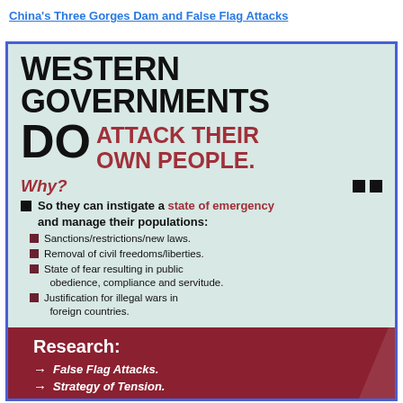China's Three Gorges Dam and False Flag Attacks
[Figure (infographic): Infographic stating 'WESTERN GOVERNMENTS DO ATTACK THEIR OWN PEOPLE.' with sub-points explaining reasons: instigating a state of emergency, managing populations via sanctions, removal of civil freedoms, state of fear, and justification for illegal wars. Bottom section says Research: False Flag Attacks, Strategy of Tension.]